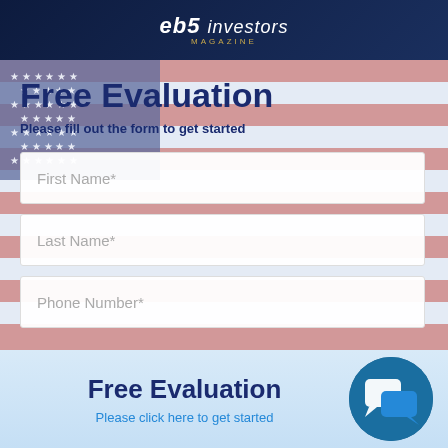[Figure (logo): eb5 investors Magazine logo on dark navy background]
[Figure (infographic): Free Evaluation form section with US flag background, containing form fields for First Name, Last Name, and Phone Number]
Free Evaluation
Please fill out the form to get started
First Name*
Last Name*
Phone Number*
Free Evaluation
Please click here to get started